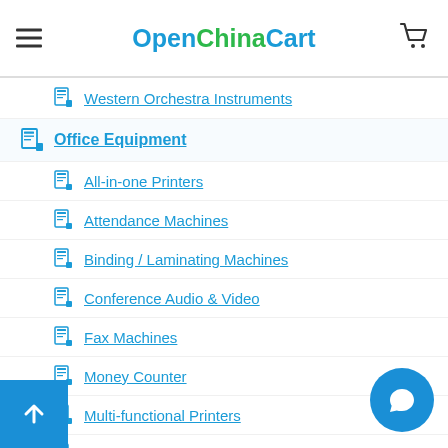OpenChinaCart
Western Orchestra Instruments
Office Equipment
All-in-one Printers
Attendance Machines
Binding / Laminating Machines
Conference Audio & Video
Fax Machines
Money Counter
Multi-functional Printers
Printers
Projector Accessories
Projectors
Receipt / Pos Machines
Safes
Scanner